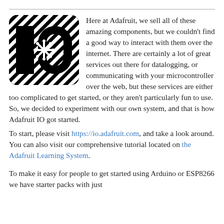[Figure (logo): Adafruit IO logo — black rounded square with 'IO' text in diagonal stripe pattern with a snowflake/star symbol]
Here at Adafruit, we sell all of these amazing components, but we couldn't find a good way to interact with them over the internet. There are certainly a lot of great services out there for datalogging, or communicating with your microcontroller over the web, but these services are either too complicated to get started, or they aren't particularly fun to use. So, we decided to experiment with our own system, and that is how Adafruit IO got started.
To start, please visit https://io.adafruit.com, and take a look around. You can also visit our comprehensive tutorial located on the Adafruit Learning System.
To make it easy for people to get started using Arduino or ESP8266 we have starter packs with just